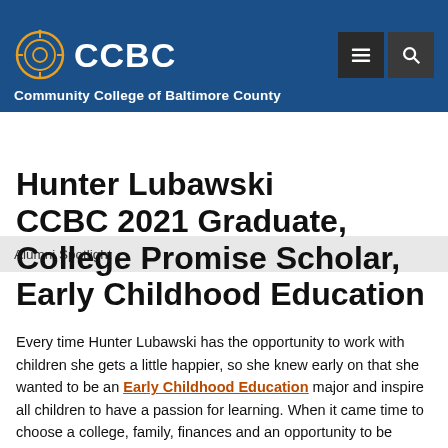CCBC — Community College of Baltimore County
Alumni Spotlight
Hunter Lubawski CCBC 2021 Graduate, College Promise Scholar, Early Childhood Education
Every time Hunter Lubawski has the opportunity to work with children she gets a little happier, so she knew early on that she wanted to be an Early Childhood Education major and inspire all children to have a passion for learning. When it came time to choose a college, family, finances and an opportunity to be challenged academically were important factors that helped influence her decision.